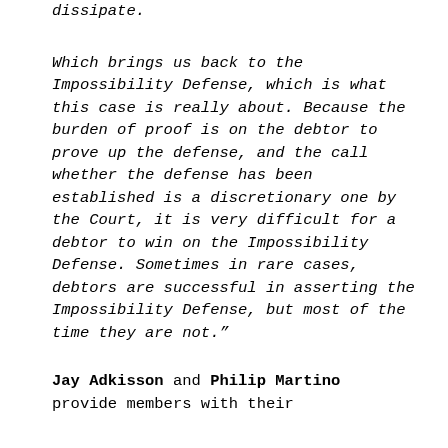dissipate.
Which brings us back to the Impossibility Defense, which is what this case is really about. Because the burden of proof is on the debtor to prove up the defense, and the call whether the defense has been established is a discretionary one by the Court, it is very difficult for a debtor to win on the Impossibility Defense. Sometimes in rare cases, debtors are successful in asserting the Impossibility Defense, but most of the time they are not."
Jay Adkisson and Philip Martino provide members with their